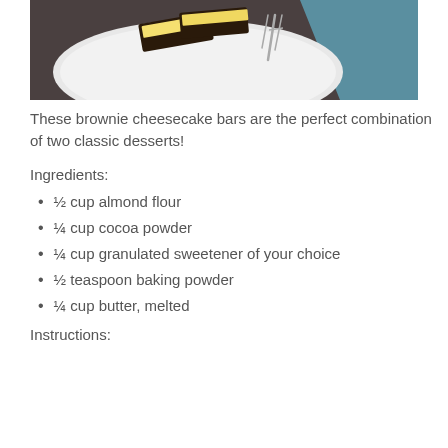[Figure (photo): Overhead view of brownie cheesecake bars on a white round plate with a fork, on a dark textured surface with a teal/blue corner]
These brownie cheesecake bars are the perfect combination of two classic desserts!
Ingredients:
½ cup almond flour
¼ cup cocoa powder
¼ cup granulated sweetener of your choice
½ teaspoon baking powder
¼ cup butter, melted
Instructions: